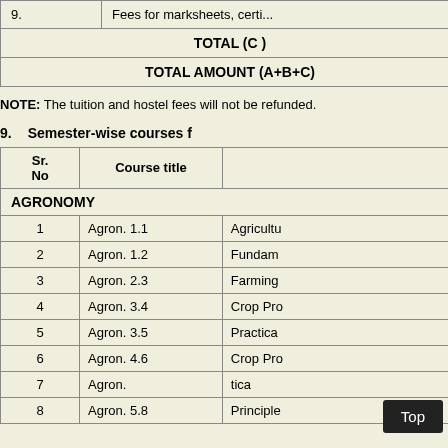|  |  |
| --- | --- |
| 9. | Fees for marksheets, certificates... |
| TOTAL  (C ) |  |
| TOTAL AMOUNT (A+B+C) |  |
NOTE: The tuition and hostel fees will not be refunded.
9.    Semester-wise courses f...
| Sr. No | Course title |  |
| --- | --- | --- |
| AGRONOMY |  |  |
| 1 | Agron. 1.1 | Agricultu... |
| 2 | Agron. 1.2 | Fundam... |
| 3 | Agron. 2.3 | Farming... |
| 4 | Agron. 3.4 | Crop Pro... |
| 5 | Agron. 3.5 | Practica... |
| 6 | Agron. 4.6 | Crop Pro... |
| 7 | Agron. ... | ...tica... |
| 8 | Agron. 5.8 | Principle... |